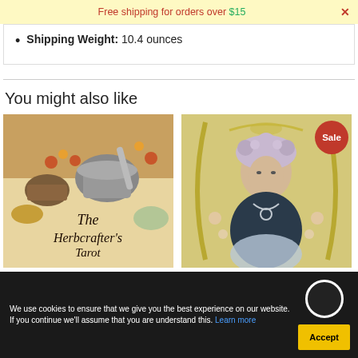Free shipping for orders over $15
Shipping Weight: 10.4 ounces
You might also like
[Figure (photo): Book cover: The Herbcrafter's Tarot with mortar and pestle, herbs, and food items]
[Figure (photo): Tarot card illustration of a woman in Art Nouveau style with a Sale badge]
We use cookies to ensure that we give you the best experience on our website. If you continue we'll assume that you are understand this. Learn more